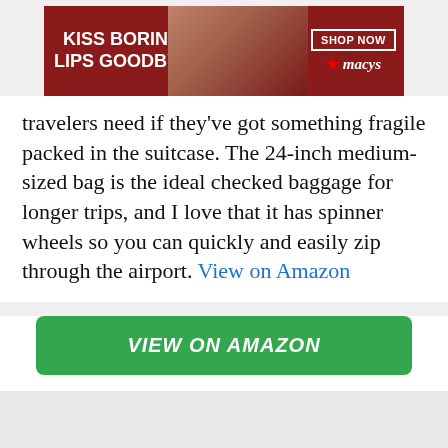[Figure (illustration): Macy's advertisement banner: woman with red lips, text 'KISS BORING LIPS GOODBYE', 'SHOP NOW' button, and Macy's star logo]
travelers need if they've got something fragile packed in the suitcase. The 24-inch medium-sized bag is the ideal checked baggage for longer trips, and I love that it has spinner wheels so you can quickly and easily zip through the airport. View on Amazon
VIEW ON AMAZON
ADVERTISEMENT